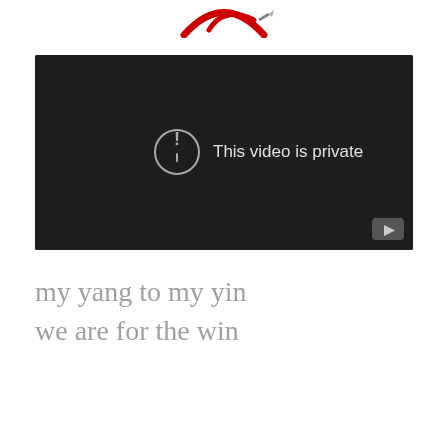[Figure (logo): Partial red and white logo/icon visible at the top of the page, cropped]
[Figure (screenshot): Embedded YouTube video player showing a black screen with the message 'This video is private' and a circular exclamation mark icon, with YouTube logo in bottom right corner]
my yang to my yin
we are for the win